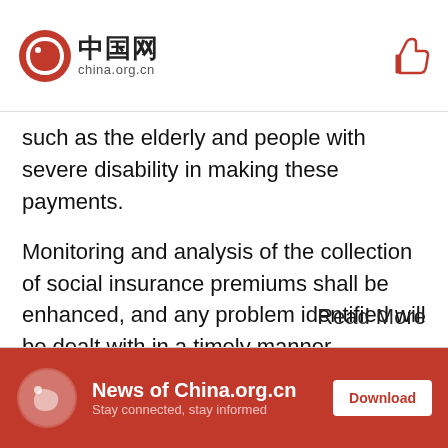china.org.cn
such as the elderly and people with severe disability in making these payments.
Monitoring and analysis of the collection of social insurance premiums shall be enhanced, and any problem identified will be dealt with in a timely manner. Oversight and inspection shall be stepped up to strictly hold all violations accountable.
Read More
News of China.org.cn  Download